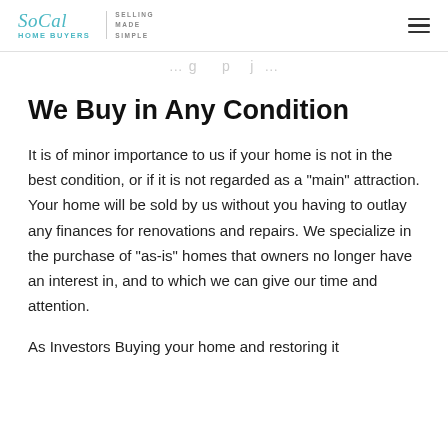SoCal Home Buyers | Selling Made Simple
We Buy in Any Condition
It is of minor importance to us if your home is not in the best condition, or if it is not regarded as a "main" attraction. Your home will be sold by us without you having to outlay any finances for renovations and repairs. We specialize in the purchase of "as-is" homes that owners no longer have an interest in, and to which we can give our time and attention.
As Investors Buying your home and restoring it